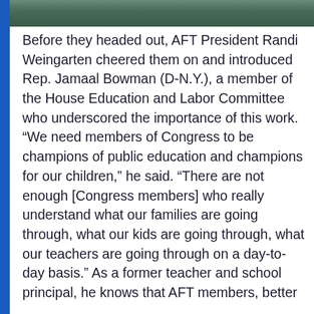[Figure (photo): Photo strip at top of page showing an outdoor scene, partially visible]
Before they headed out, AFT President Randi Weingarten cheered them on and introduced Rep. Jamaal Bowman (D-N.Y.), a member of the House Education and Labor Committee who underscored the importance of this work. “We need members of Congress to be champions of public education and champions for our children,” he said. “There are not enough [Congress members] who really understand what our families are going through, what our kids are going through, what our teachers are going through on a day-to-day basis.” As a former teacher and school principal, he knows that AFT members, better